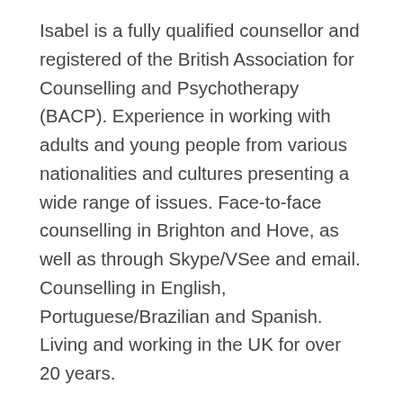Isabel is a fully qualified counsellor and registered of the British Association for Counselling and Psychotherapy (BACP). Experience in working with adults and young people from various nationalities and cultures presenting a wide range of issues. Face-to-face counselling in Brighton and Hove, as well as through Skype/VSee and email. Counselling in English, Portuguese/Brazilian and Spanish. Living and working in the UK for over 20 years.
Grounded in the humanistic approach which focus on the human potential for creativity, love, growth, fulfilment and psychological health, Isabel works with her clients' whole experience and considers the processes of thinking, feeling and behaviour equally